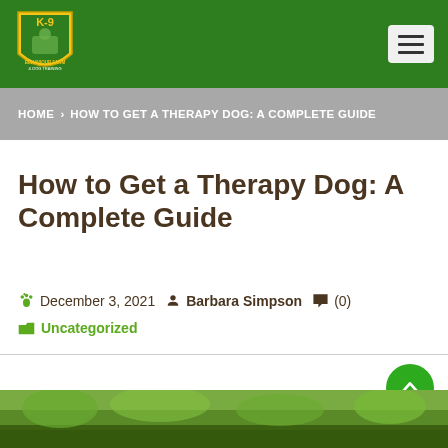[Figure (logo): K-9 dog training shield logo with green and yellow colors]
HOME › HOW TO GET A THERAPY DOG: A COMPLETE GUIDE
How to Get a Therapy Dog: A Complete Guide
December 3, 2021  Barbara Simpson  (0)
Uncategorized
[Figure (photo): Partial bottom image showing greenery/outdoor scene]